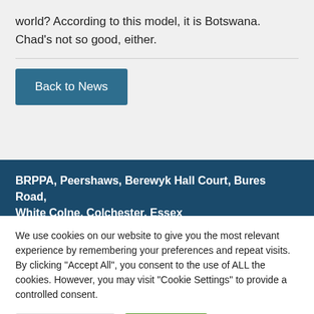world? According to this model, it is Botswana. Chad's not so good, either.
Back to News
BRPPA, Peershaws, Berewyk Hall Court, Bures Road, White Colne, Colchester, Essex
T: l: 01797 00600E
We use cookies on our website to give you the most relevant experience by remembering your preferences and repeat visits. By clicking "Accept All", you consent to the use of ALL the cookies. However, you may visit "Cookie Settings" to provide a controlled consent.
Cookie Settings
Accept All